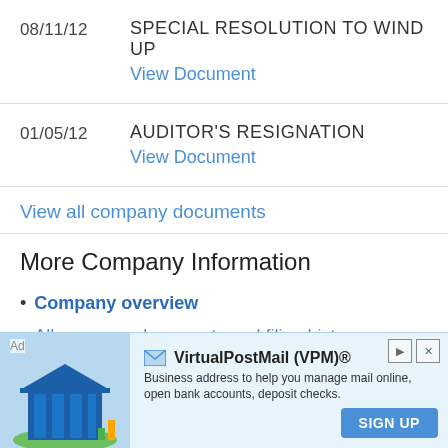08/11/12  SPECIAL RESOLUTION TO WIND UP
View Document
01/05/12  AUDITOR'S RESIGNATION
View Document
View all company documents
More Company Information
Company overview
All company documents and filing history
People connected with this company
[Figure (screenshot): Advertisement banner for VirtualPostMail (VPM)® showing a blue building/bank illustration, ad label, brand name, description 'Business address to help you manage mail online, open bank accounts, deposit checks.' and a SIGN UP button.]